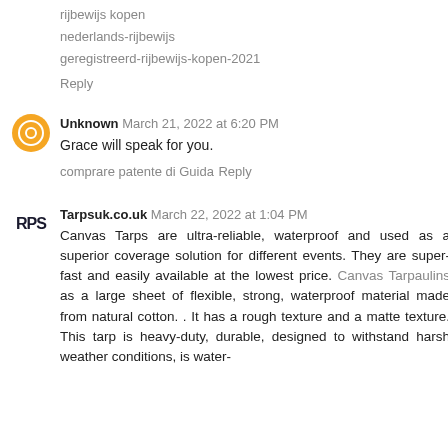rijbewijs kopen
nederlands-rijbewijs
geregistreerd-rijbewijs-kopen-2021
Reply
Unknown  March 21, 2022 at 6:20 PM
Grace will speak for you.
comprare patente di Guida
Reply
Tarpsuk.co.uk  March 22, 2022 at 1:04 PM
Canvas Tarps are ultra-reliable, waterproof and used as a superior coverage solution for different events. They are super-fast and easily available at the lowest price. Canvas Tarpaulins as a large sheet of flexible, strong, waterproof material made from natural cotton. . It has a rough texture and a matte texture. This tarp is heavy-duty, durable, designed to withstand harsh weather conditions, is water-